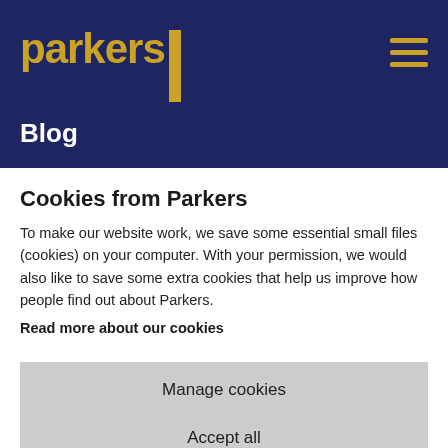[Figure (logo): Parkers logo with gold text and vertical gold bar, on dark navy background, with hamburger menu icon in gold on the right]
Blog
Cookies from Parkers
To make our website work, we save some essential small files (cookies) on your computer. With your permission, we would also like to save some extra cookies that help us improve how people find out about Parkers.
Read more about our cookies
Manage cookies
Accept all